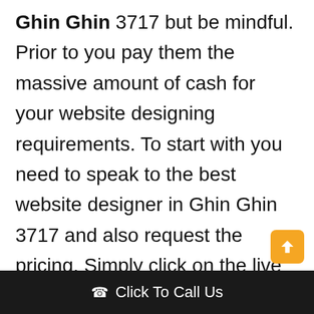Ghin Ghin 3717 but be mindful. Prior to you pay them the massive amount of cash for your website designing requirements. To start with you need to speak to the best website designer in Ghin Ghin 3717 and also request the pricing. Simply click on the live chat button billow as
Click To Call Us